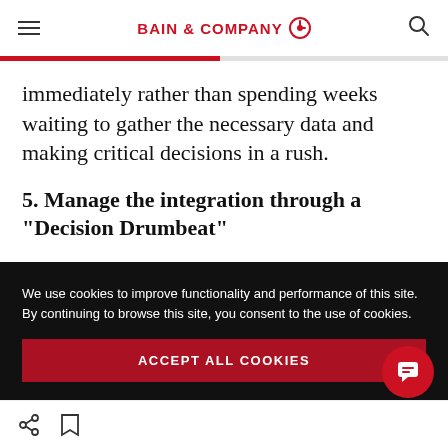BAIN & COMPANY
immediately rather than spending weeks waiting to gather the necessary data and making critical decisions in a rush.
5. Manage the integration through a "Decision Drumbeat"
We use cookies to improve functionality and performance of this site. By continuing to browse this site, you consent to the use of cookies.
ACCEPT ALL COOKIES